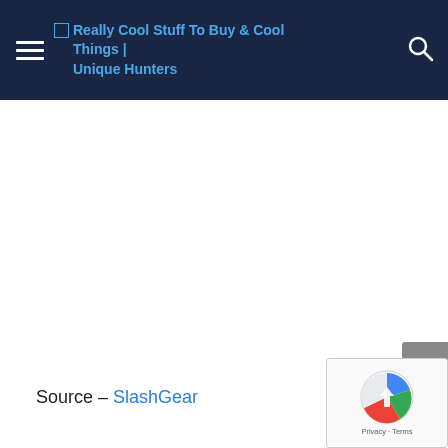Really Cool Stuff To Buy & Cool Things | Unique Hunters
Source – SlashGear
[Figure (screenshot): Back to top arrow button (grey)]
[Figure (other): reCAPTCHA badge with Privacy - Terms]